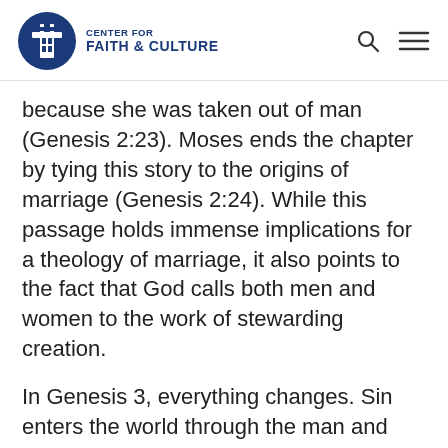CENTER FOR FAITH & CULTURE
because she was taken out of man (Genesis 2:23). Moses ends the chapter by tying this story to the origins of marriage (Genesis 2:24). While this passage holds immense implications for a theology of marriage, it also points to the fact that God calls both men and women to the work of stewarding creation.
In Genesis 3, everything changes. Sin enters the world through the man and woman’s disobedience, and work itself is altered. God tells Adam,